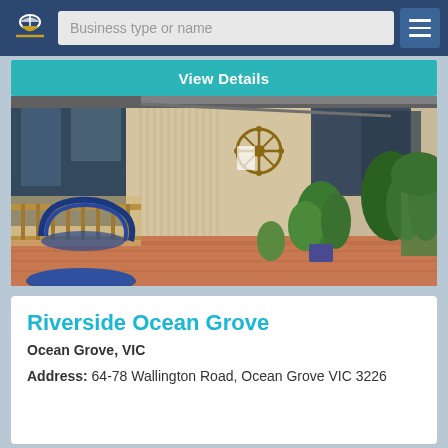Business type or name
View Details
[Figure (photo): Exterior corridor of Riverside Ocean Grove motel showing a long covered walkway with large glass windows, potted plants, a ship wheel decoration on the wall, patio furniture including a blue round table and chairs in the foreground, and garden/trees at the far end.]
Riverside Ocean Grove
Ocean Grove, VIC
Address: 64-78 Wallington Road, Ocean Grove VIC 3226